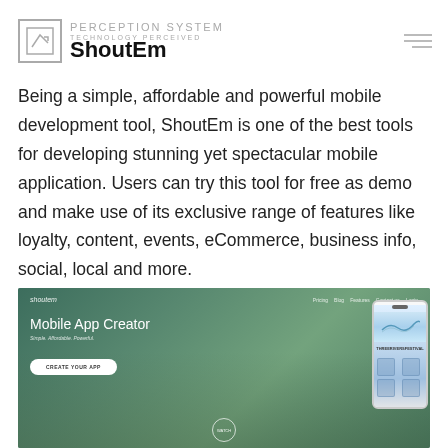ShoutEm | PERCEPTION SYSTEM — TECHNOLOGY PERCEIVED
Being a simple, affordable and powerful mobile development tool, ShoutEm is one of the best tools for developing stunning yet spectacular mobile application. Users can try this tool for free as demo and make use of its exclusive range of features like loyalty, content, events, eCommerce, business info, social, local and more.
[Figure (screenshot): Screenshot of the ShoutEm website showing 'Mobile App Creator' hero section with 'Simple. Affordable. Powerful.' tagline, a 'CREATE YOUR APP' button, and a mobile phone mockup displaying a festival app interface.]